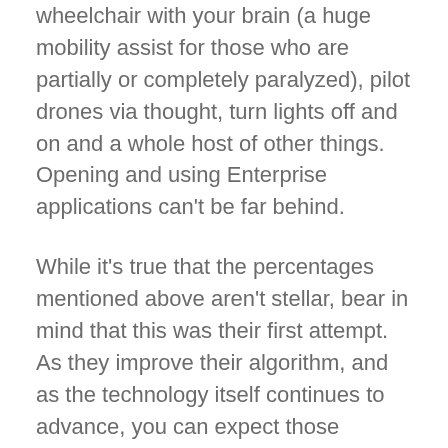wheelchair with your brain (a huge mobility assist for those who are partially or completely paralyzed), pilot drones via thought, turn lights off and on and a whole host of other things. Opening and using Enterprise applications can't be far behind.
While it's true that the percentages mentioned above aren't stellar, bear in mind that this was their first attempt. As they improve their algorithm, and as the technology itself continues to advance, you can expect those percentages to climb dramatically. As the software becomes mainstream in more and more industries, it's just a matter of time before the hackers of the world begin to take notice, which brings up a tough question.
How can we prevent our brains from being hacked? So far, no one has any answers.